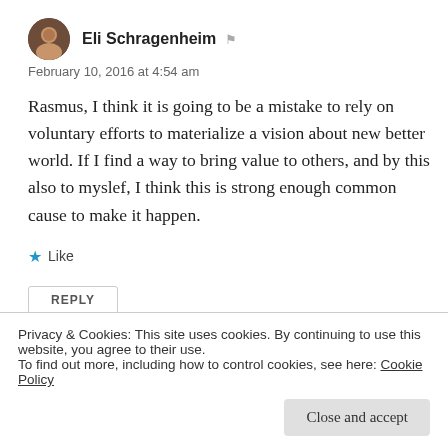Eli Schragenheim
February 10, 2016 at 4:54 am
Rasmus, I think it is going to be a mistake to rely on voluntary efforts to materialize a vision about new better world. If I find a way to bring value to others, and by this also to myslef, I think this is strong enough common cause to make it happen.
Like
REPLY
Privacy & Cookies: This site uses cookies. By continuing to use this website, you agree to their use.
To find out more, including how to control cookies, see here: Cookie Policy
Close and accept